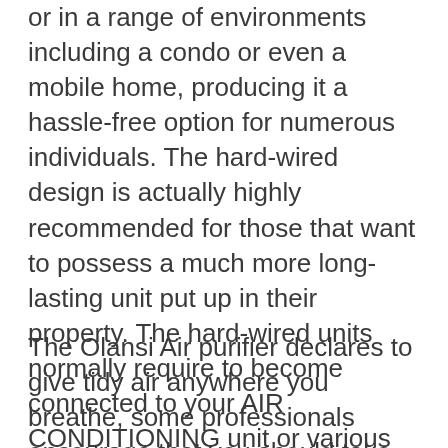or in a range of environments including a condo or even a mobile home, producing it a hassle-free option for numerous individuals. The hard-wired design is actually highly recommended for those that want to possess a much more long-lasting unit put up in their property. The hard-wired units normally require to become connected to your AIR CONDITIONING unit or various other kind of tidy air source. Because of this they are often only appropriate for usage in even more run-down, much less humid places.
The Olansi Air purifier declares to give tidy air anywhere you breathe, some professionals encourage that you should take into consideration other choices first prior to spending in this unit. As an example, the mobile versions may not appropriate in places along with much higher pollen matters. The system may additionally not be actually the greatest